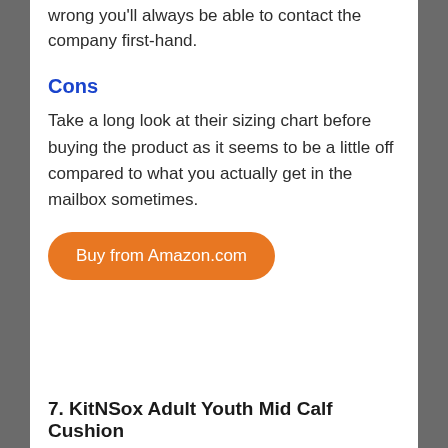wrong you'll always be able to contact the company first-hand.
Cons
Take a long look at their sizing chart before buying the product as it seems to be a little off compared to what you actually get in the mailbox sometimes.
Buy from Amazon.com
7. KitNSox Adult Youth Mid Calf Cushion